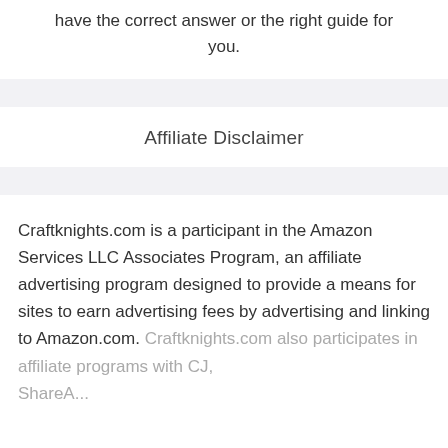have the correct answer or the right guide for you.
Affiliate Disclaimer
Craftknights.com is a participant in the Amazon Services LLC Associates Program, an affiliate advertising program designed to provide a means for sites to earn advertising fees by advertising and linking to Amazon.com. Craftknights.com also participates in affiliate programs with CJ, ShareASale, and other sites.